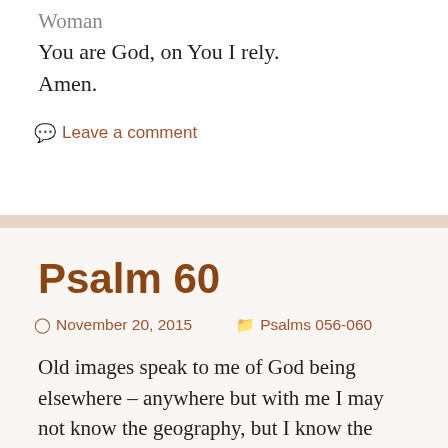Woman
You are God, on You I rely.
Amen.
Leave a comment
Psalm 60
November 20, 2015   Psalms 056-060
Old images speak to me of God being elsewhere – anywhere but with me
I may not know the geography, but I know the feeling